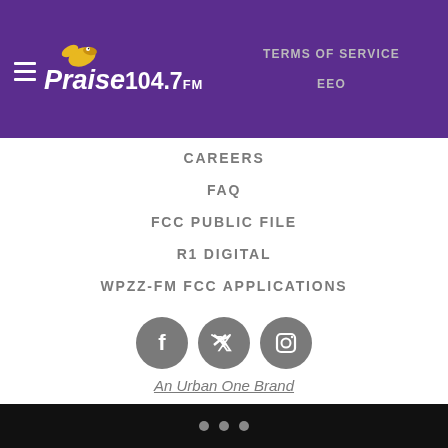[Figure (logo): Praise 104.7 FM logo with hamburger menu icon and yellow bird graphic on purple header bar]
TERMS OF SERVICE
EEO
CAREERS
FAQ
FCC PUBLIC FILE
R1 DIGITAL
WPZZ-FM FCC APPLICATIONS
[Figure (infographic): Three gray social media icon circles: Facebook, Twitter, Instagram]
An Urban One Brand
Copyright © 2022 Interactive One, LLC. All Rights Reserved.
Powered by WordPress VIP